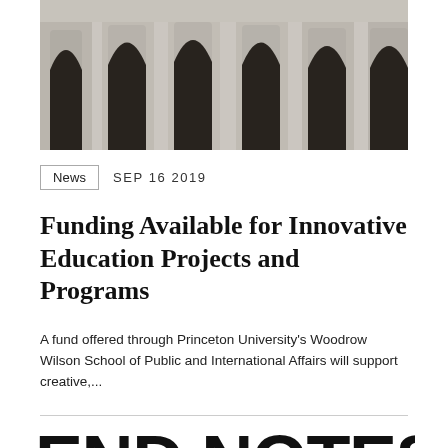[Figure (photo): Architectural photo of concrete columns with arched openings on a building facade, viewed from below at an angle]
News  SEP 16 2019
Funding Available for Innovative Education Projects and Programs
A fund offered through Princeton University's Woodrow Wilson School of Public and International Affairs will support creative,...
END NOTES